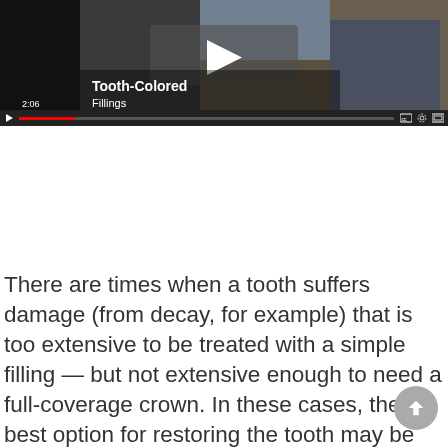[Figure (screenshot): Video player screenshot showing a dental video titled 'Tooth-Colored Fillings' with a play button overlay, timestamp 2:06, and video controls bar at bottom including CC, settings, and fullscreen icons.]
There are times when a tooth suffers damage (from decay, for example) that is too extensive to be treated with a simple filling — but not extensive enough to need a full-coverage crown. In these cases, the best option for restoring the tooth may be an inlay or onlay.